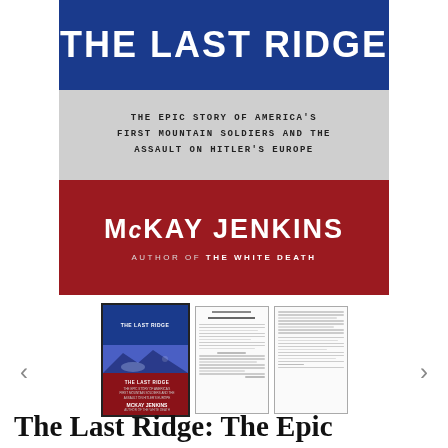[Figure (illustration): Book cover of 'The Last Ridge' showing blue banner with title text, gray banner with subtitle, and red banner with author name McKay Jenkins. Below are thumbnail images of the book cover and interior pages with navigation arrows.]
The Last Ridge: The Epic